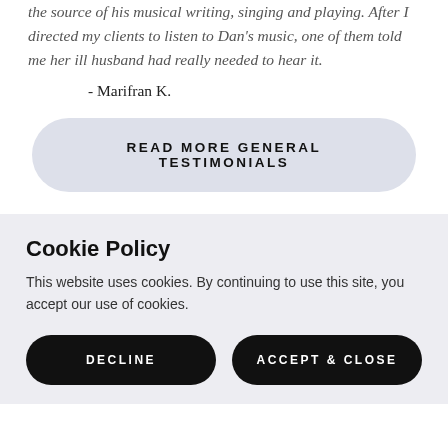the source of his musical writing, singing and playing. After I directed my clients to listen to Dan's music, one of them told me her ill husband had really needed to hear it.
- Marifran K.
READ MORE GENERAL TESTIMONIALS
Cookie Policy
This website uses cookies. By continuing to use this site, you accept our use of cookies.
DECLINE
ACCEPT & CLOSE